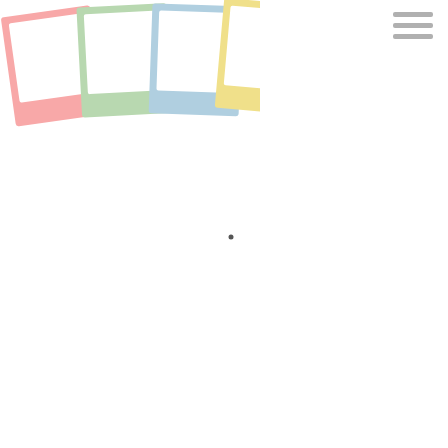[Figure (illustration): Four polaroid-style photo frames in pastel colors (pink, green, blue, yellow) arranged slightly overlapping and tilted in the top-left area]
[Figure (illustration): Hamburger menu icon (three horizontal gray lines) in the top-right corner]
[Figure (illustration): Small dark dot in the center of the page]